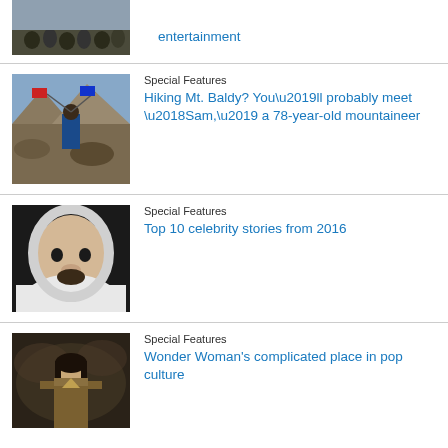[Figure (photo): Partial thumbnail of crowd/people outdoor scene at top]
entertainment
[Figure (photo): Person on mountain top holding flags (Korean and American)]
Special Features
Hiking Mt. Baldy? You’ll probably meet ‘Sam,’ a 78-year-old mountaineer
[Figure (photo): Close-up of man in white hoodie (celebrity)]
Special Features
Top 10 celebrity stories from 2016
[Figure (photo): Wonder Woman character in costume]
Special Features
Wonder Woman's complicated place in pop culture